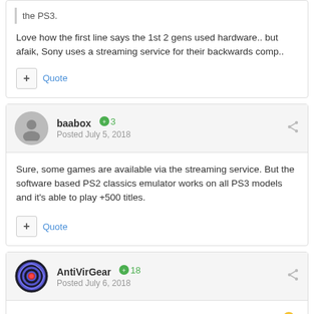the PS3.
Love how the first line says the 1st 2 gens used hardware.. but afaik, Sony uses a streaming service for their backwards comp..
baabox +3 Posted July 5, 2018
Sure, some games are available via the streaming service. But the software based PS2 classics emulator works on all PS3 models and it's able to play +500 titles.
AntiVirGear +18 Posted July 6, 2018
:) oohh---kay? So mine is probably semi broken or whet ever? 😄